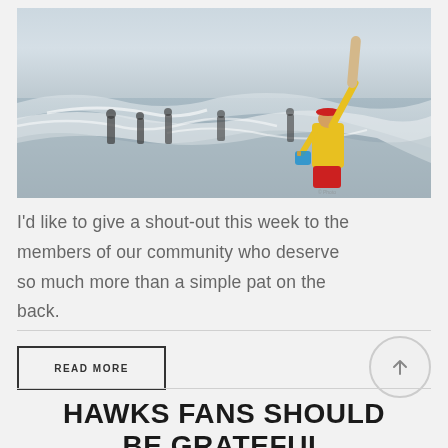[Figure (photo): Lifeguard in yellow jacket and red hat standing in ocean surf, holding up a surfboard or rescue board, with several people in the background in the water. Ocean waves visible.]
I'd like to give a shout-out this week to the members of our community who deserve so much more than a simple pat on the back.
READ MORE
HAWKS FANS SHOULD BE GRATEFUL